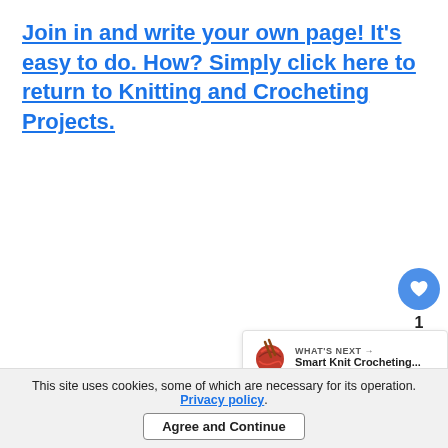Join in and write your own page! It's easy to do. How? Simply click here to return to Knitting and Crocheting Projects.
[Figure (other): Floating heart/like button (blue circle with heart icon), count label '1', and share button on the right side of the page, plus a red button below]
[Figure (other): What's Next panel with yarn ball illustration, label 'WHAT'S NEXT →', and text 'Smart Knit Crocheting...']
This site uses cookies, some of which are necessary for its operation. Privacy policy.
Agree and Continue